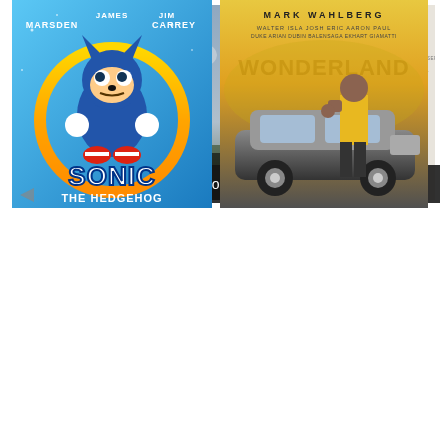[Figure (photo): Movie poster for The Highwaymen featuring Kevin Costner and Woody Harrelson as two men in suits and hats against a cloudy sky background. Text reads COSTNER HARRELSON, BASED ON THE UNTOLD TRUE STORY, A NETFLIX FILM, THE HIGHWAYMEN]
[Figure (photo): Movie poster for The Gentlemen directed by Guy Ritchie. Shows a group of stylishly dressed people standing together. Text reads CRIMINAL CLASS, THE GENTLEMEN]
В погоне за Бонни и Клайдом  Джентльмены
[Figure (photo): Movie poster for Sonic The Hedgehog featuring James Marsden and Jim Carrey. Shows Sonic character in a circular gold ring with blue sky background. Text reads JAMES MARSDEN JIM CARREY SONIC THE HEDGEHOG]
[Figure (photo): Movie poster for Wonderland featuring Mark Wahlberg. Shows a man in a yellow jacket leaning against a luxury car. Text reads MARK WAHLBERG WONDERLAND]